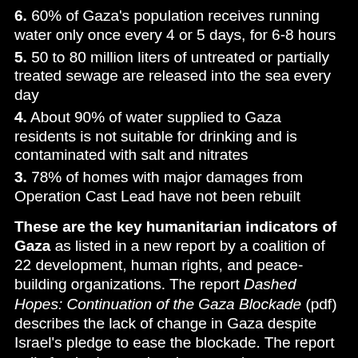6. 60% of Gaza's population receives running water only once every 4 or 5 days, for 6-8 hours
5. 50 to 80 million liters of untreated or partially treated sewage are released into the sea every day
4. About 90% of water supplied to Gaza residents is not suitable for drinking and is contaminated with salt and nitrates
3. 78% of homes with major damages from Operation Cast Lead have not been rebuilt
These are the key humanitarian indicators of Gaza as listed in a new report by a coalition of 22 development, human rights, and peace-building organizations. The report Dashed Hopes: Continuation of the Gaza Blockade (pdf) describes the lack of change in Gaza despite Israel's pledge to ease the blockade. The report calls for the international community to renew action for an immediate, unconditional, and